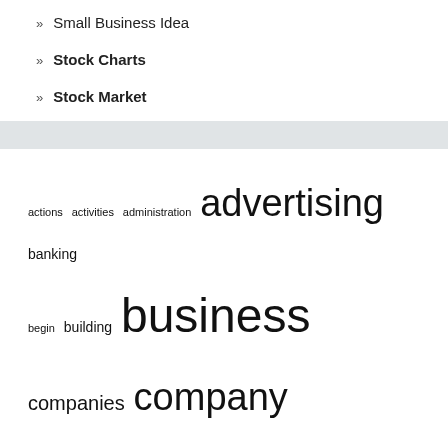Small Business Idea
Stock Charts
Stock Market
[Figure (other): Tag cloud of business and finance related terms with varying font sizes indicating frequency/importance. Terms include: actions, activities, administration, advertising, banking, begin, building, business, companies, company, concepts, constructing, corporate, courses, credit, definition, digital, economic, enterprise, examples, expands, finance, financial, greatest, group, ideas, information, inventory, leadership, management, market, marketing, monetary, money]